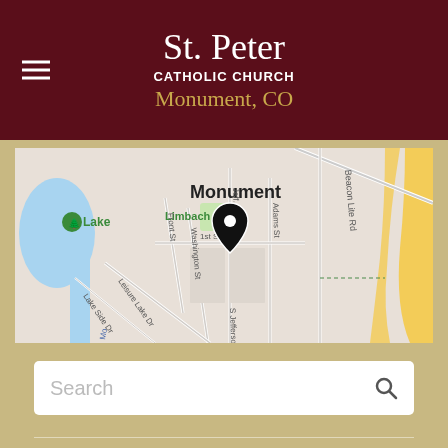St. Peter CATHOLIC CHURCH Monument, CO
[Figure (map): Google Maps view of Monument, CO showing Limbach Park, Lake, streets including Jefferson St, Washington St, Front St, Adams St, Beacon Lite Rd, 2nd St, Lake Side Dr, Leisure Lake Dr, S Jefferson St, with a map pin marker indicating the church location near 1st St and Jefferson St.]
Search